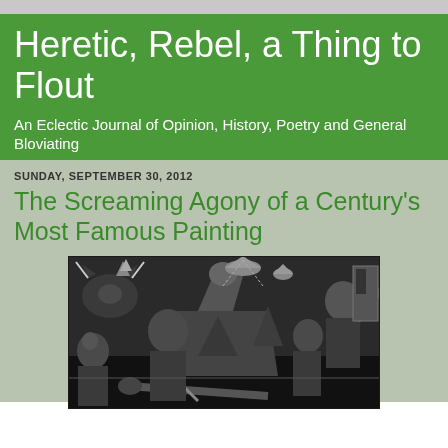Heretic, Rebel, a Thing to Flout
An Eclectic Journal of Opinion, History, Poetry and General Bloviating
SUNDAY, SEPTEMBER 30, 2012
The Screaming Agony of a Century's Most Famous Painting
[Figure (photo): Black and white photograph of Picasso's Guernica painting, showing fragmented cubist figures including a bull, screaming women, a dead baby, a dismembered soldier, and a horse in agony, rendered in grey, black and white tones.]